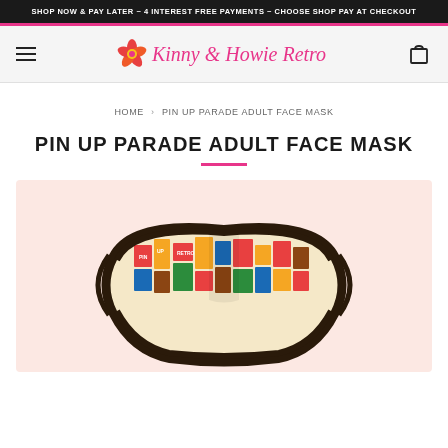SHOP NOW & PAY LATER ~ 4 INTEREST FREE PAYMENTS ~ CHOOSE SHOP PAY AT CHECKOUT
[Figure (logo): Kinny & Howie Retro logo with hibiscus flower and shopping cart icon navigation]
HOME > PIN UP PARADE ADULT FACE MASK
PIN UP PARADE ADULT FACE MASK
[Figure (photo): Product photo of a Pin Up Parade adult face mask with colorful retro print, shown on a light pink background. The mask has dark binding and a vintage pin-up style fabric pattern.]